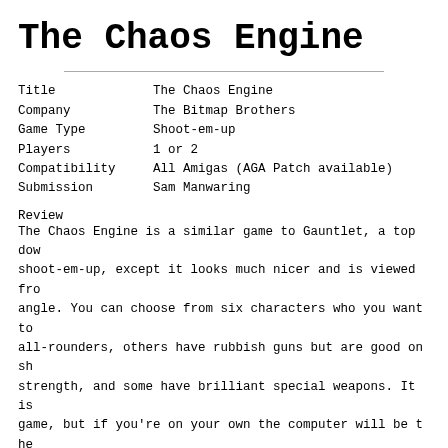The Chaos Engine
| Title | The Chaos Engine |
| Company | The Bitmap Brothers |
| Game Type | Shoot-em-up |
| Players | 1 or 2 |
| Compatibility | All Amigas (AGA Patch available) |
| Submission | Sam Manwaring |
Review
The Chaos Engine is a similar game to Gauntlet, a top dow shoot-em-up, except it looks much nicer and is viewed fro angle. You can choose from six characters who you want to all-rounders, others have rubbish guns but are good on sh strength, and some have brilliant special weapons. It is game, but if you're on your own the computer will be the Each level is littered with a lots of different power-ups enemies; the giant hands on World 3 are particuarly good got 4 levels, and after every two levels you go to a shop convert your money into experience, and improve your weap The levels and the monsters are very good looking, (you w marry them though) and it's great when you stumble across Often you have a choice of which way you go, and this giv appeal.
The Chaos Engine starts off easy, but gets harder and ha made game, and I really like some of the brilliant guns,